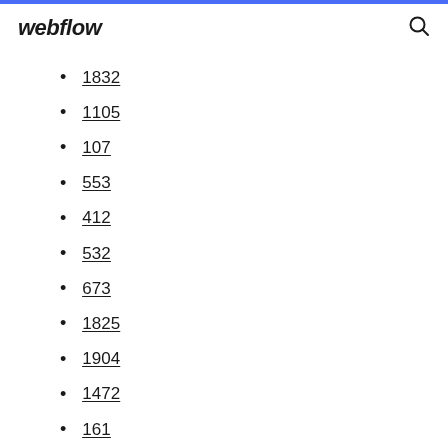webflow
1832
1105
107
553
412
532
673
1825
1904
1472
161
217